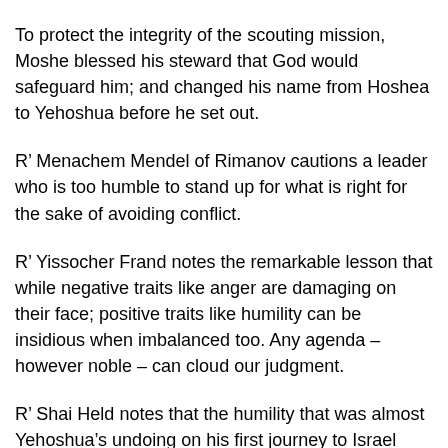To protect the integrity of the scouting mission, Moshe blessed his steward that God would safeguard him; and changed his name from Hoshea to Yehoshua before he set out.
R’ Menachem Mendel of Rimanov cautions a leader who is too humble to stand up for what is right for the sake of avoiding conflict.
R’ Yissocher Frand notes the remarkable lesson that while negative traits like anger are damaging on their face; positive traits like humility can be insidious when imbalanced too. Any agenda – however noble – can cloud our judgment.
R’ Shai Held notes that the humility that was almost Yehoshua’s undoing on his first journey to Israel would be the making of him on his second.
While Caleb was fearless in the face of an angry